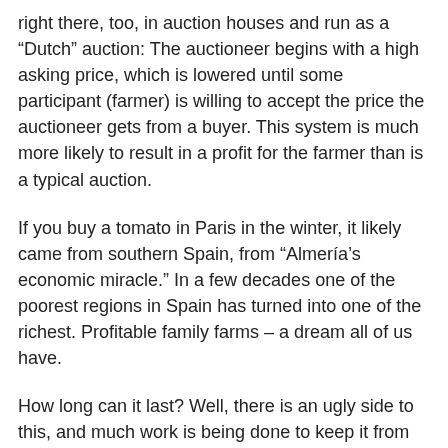right there, too, in auction houses and run as a “Dutch” auction: The auctioneer begins with a high asking price, which is lowered until some participant (farmer) is willing to accept the price the auctioneer gets from a buyer. This system is much more likely to result in a profit for the farmer than is a typical auction.
If you buy a tomato in Paris in the winter, it likely came from southern Spain, from “Almería’s economic miracle.” In a few decades one of the poorest regions in Spain has turned into one of the richest. Profitable family farms – a dream all of us have.
How long can it last? Well, there is an ugly side to this, and much work is being done to keep it from getting worse. This type of agriculture depends on water from away – from aquifers fed from rain and snow in the Sierra Nevada Mountains. At first too much water was being used. Now great efforts have been made to tighten water conservation. In fact, desalination plants that have